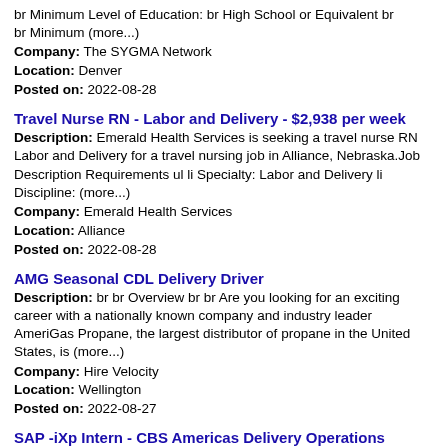br Minimum Level of Education: br High School or Equivalent br br Minimum (more...)
Company: The SYGMA Network
Location: Denver
Posted on: 2022-08-28
Travel Nurse RN - Labor and Delivery - $2,938 per week
Description: Emerald Health Services is seeking a travel nurse RN Labor and Delivery for a travel nursing job in Alliance, Nebraska.Job Description Requirements ul li Specialty: Labor and Delivery li Discipline: (more...)
Company: Emerald Health Services
Location: Alliance
Posted on: 2022-08-28
AMG Seasonal CDL Delivery Driver
Description: br br Overview br br Are you looking for an exciting career with a nationally known company and industry leader AmeriGas Propane, the largest distributor of propane in the United States, is (more...)
Company: Hire Velocity
Location: Wellington
Posted on: 2022-08-27
SAP -iXp Intern - CBS Americas Delivery Operations
Description: WE HELP THE WORLD RUN BETTER br Our company culture is focused on helping our employees enable innovation by building breakthroughs together. How We focus